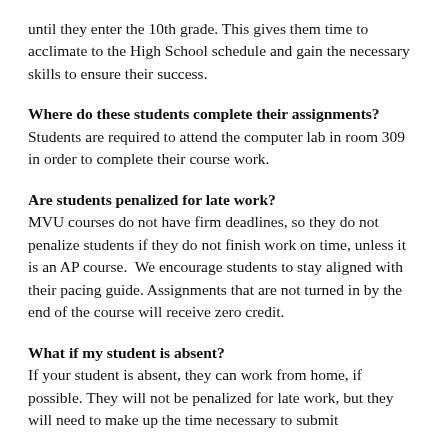until they enter the 10th grade. This gives them time to acclimate to the High School schedule and gain the necessary skills to ensure their success.
Where do these students complete their assignments?
Students are required to attend the computer lab in room 309 in order to complete their course work.
Are students penalized for late work?
MVU courses do not have firm deadlines, so they do not penalize students if they do not finish work on time, unless it is an AP course.  We encourage students to stay aligned with their pacing guide. Assignments that are not turned in by the end of the course will receive zero credit.
What if my student is absent?
If your student is absent, they can work from home, if possible. They will not be penalized for late work, but they will need to make up the time necessary to submit